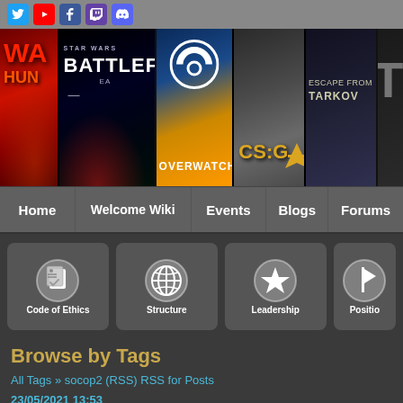[Figure (screenshot): Gaming community website header with social media icons (Twitter, YouTube, Facebook, Twitch, Discord) on a grey bar]
[Figure (illustration): Banner showing game artwork panels: War/Hunt, Star Wars Battlefront, Overwatch, CS:GO, Escape from Tarkov, and another game]
Home | Welcome Wiki | Events | Blogs | Forums
[Figure (infographic): Four icon cards: Code of Ethics (clipboard with checkmark), Structure (globe), Leadership (star), Position (flag)]
Browse by Tags
All Tags » socop2 (RSS) RSS for Posts
23/05/2021 13:53